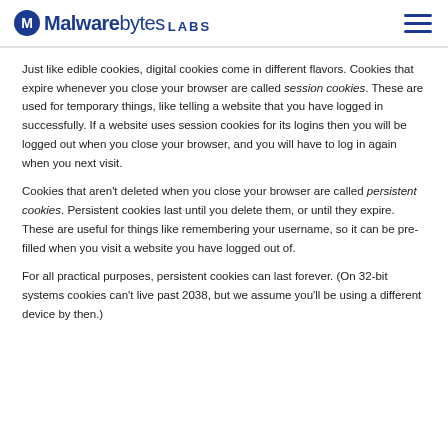Malwarebytes LABS
Just like edible cookies, digital cookies come in different flavors. Cookies that expire whenever you close your browser are called session cookies. These are used for temporary things, like telling a website that you have logged in successfully. If a website uses session cookies for its logins then you will be logged out when you close your browser, and you will have to log in again when you next visit.
Cookies that aren't deleted when you close your browser are called persistent cookies. Persistent cookies last until you delete them, or until they expire. These are useful for things like remembering your username, so it can be pre-filled when you visit a website you have logged out of.
For all practical purposes, persistent cookies can last forever. (On 32-bit systems cookies can't live past 2038, but we assume you'll be using a different device by then.)